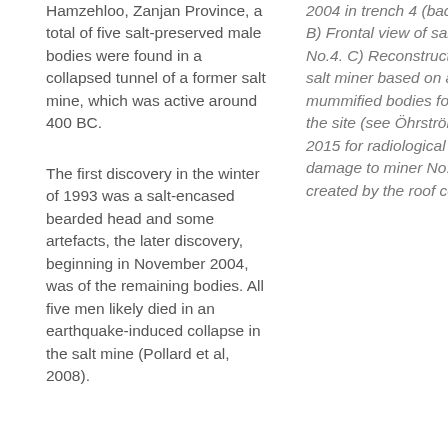Hamzehloo, Zanjan Province, a total of five salt-preserved male bodies were found in a collapsed tunnel of a former salt mine, which was active around 400 BC.
The first discovery in the winter of 1993 was a salt-encased bearded head and some artefacts, the later discovery, beginning in November 2004, was of the remaining bodies. All five men likely died in an earthquake-induced collapse in the salt mine (Pollard et al, 2008).
2004 in trench 4 (back view). B) Frontal view of salt man No.4. C) Reconstruction of a salt miner based on all 4 mummified bodies found at the site (see Öhrström et al, 2015 for radiological study of damage to miner No. 4 created by the roof collapse).